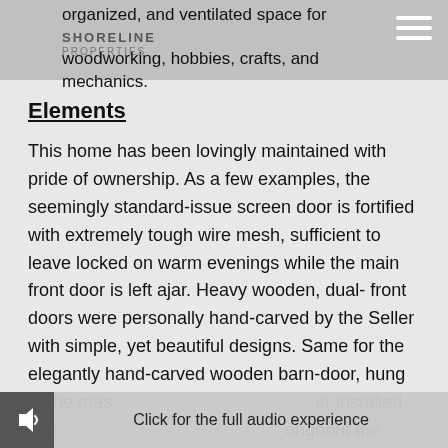organized, and ventilated space for woodworking, hobbies, crafts, and mechanics.
Elements
This home has been lovingly maintained with pride of ownership. As a few examples, the seemingly standard-issue screen door is fortified with extremely tough wire mesh, sufficient to leave locked on warm evenings while the main front door is left ajar. Heavy wooden, dual- front doors were personally hand-carved by the Seller with simple, yet beautiful designs. Same for the elegantly hand-carved wooden barn-door, hung at the master bedroom from the Seller installed hand-carved, cabinetry-style, throughout the
Click for the full audio experience